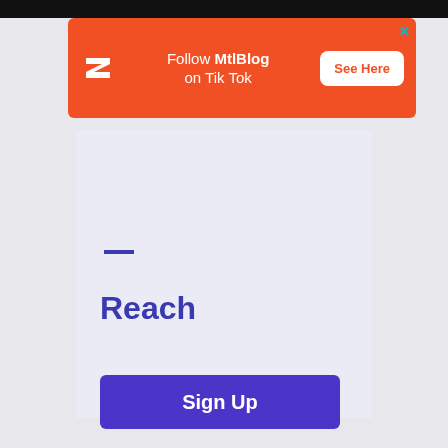[Figure (screenshot): Orange advertisement banner for MtlBlog TikTok with logo, text 'Follow MtlBlog on Tik Tok' and 'See Here' button]
—
Reach
Sign Up